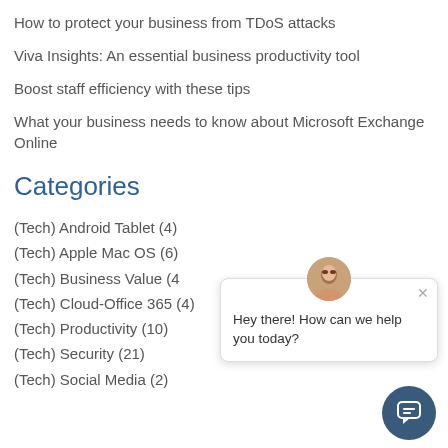How to protect your business from TDoS attacks
Viva Insights: An essential business productivity tool
Boost staff efficiency with these tips
What your business needs to know about Microsoft Exchange Online
Categories
(Tech) Android Tablet (4)
(Tech) Apple Mac OS (6)
(Tech) Business Value (4)
(Tech) Cloud-Office 365 (4)
(Tech) Productivity (10)
(Tech) Security (21)
(Tech) Social Media (2)